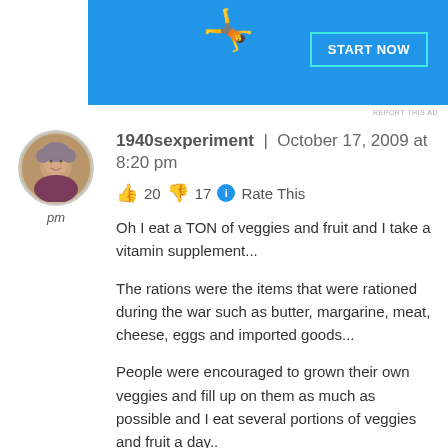[Figure (photo): Advertisement banner with blue background showing a person jumping and a 'START NOW' button with teal border]
REPORT THIS AD
1940sexperiment | October 17, 2009 at 8:20 pm
👍 20 👎 17 ℹ Rate This
Oh I eat a TON of veggies and fruit and I take a vitamin supplement...
The rations were the items that were rationed during the war such as butter, margarine, meat, cheese, eggs and imported goods...
People were encouraged to grown their own veggies and fill up on them as much as possible and I eat several portions of veggies and fruit a day..